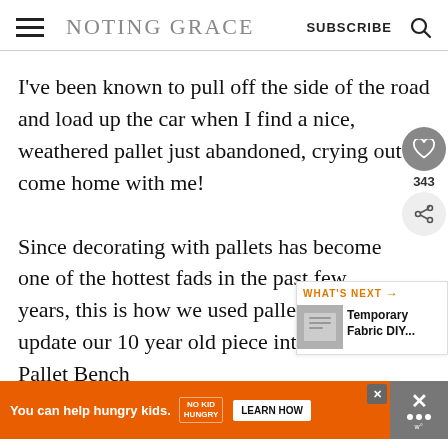NOTING GRACE | SUBSCRIBE
I've been known to pull off the side of the road and load up the car when I find a nice, weathered pallet just abandoned, crying out to come home with me!
Since decorating with pallets has become one of the hottest fads in the past few years, this is how we used pallets to update our 10 year old piece into a DIY Pallet Bench...
[Figure (screenshot): Mobile website screenshot showing Noting Grace blog with social sharing buttons (heart/343 likes, share), a 'What's Next' widget showing 'Temporary Fabric DIY...' and an ad banner saying 'You can help hungry kids. NO KID HUNGRY. LEARN HOW']